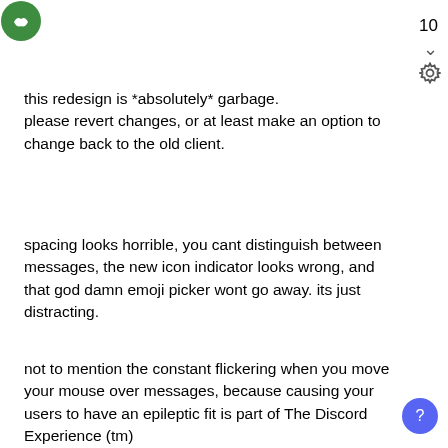[Figure (logo): Green circular logo (Discord-like) in top left corner]
10
this redesign is *absolutely* garbage.
please revert changes, or at least make an option to change back to the old client.
spacing looks horrible, you cant distinguish between messages, the new icon indicator looks wrong, and that god damn emoji picker wont go away. its just distracting.
not to mention the constant flickering when you move your mouse over messages, because causing your users to have an epileptic fit is part of The Discord Experience (tm)
good job, youve managed to make one of the worst ui / ux ive ever seen. thats an achivement, congrats!
this is the definition of feature creep.